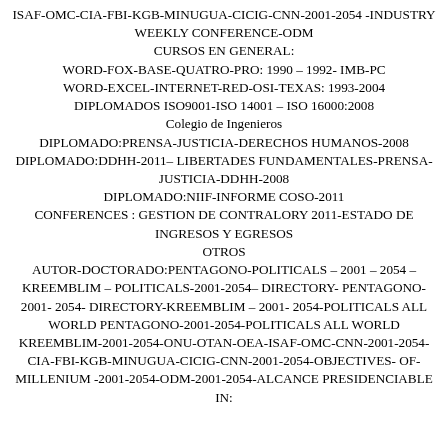ISAF-OMC-CIA-FBI-KGB-MINUGUA-CICIG-CNN-2001-2054 -INDUSTRY WEEKLY CONFERENCE-ODM
CURSOS EN GENERAL:
WORD-FOX-BASE-QUATRO-PRO: 1990 – 1992- IMB-PC
WORD-EXCEL-INTERNET-RED-OSI-TEXAS: 1993-2004
DIPLOMADOS ISO9001-ISO 14001 – ISO 16000:2008
Colegio de Ingenieros
DIPLOMADO:PRENSA-JUSTICIA-DERECHOS HUMANOS-2008
DIPLOMADO:DDHH-2011– LIBERTADES FUNDAMENTALES-PRENSA-JUSTICIA-DDHH-2008
DIPLOMADO:NIIF-INFORME COSO-2011
CONFERENCES : GESTION DE CONTRALORY 2011-ESTADO DE INGRESOS Y EGRESOS
OTROS
AUTOR-DOCTORADO:PENTAGONO-POLITICALS – 2001 – 2054 – KREEMBLIM – POLITICALS-2001-2054– DIRECTORY- PENTAGONO- 2001- 2054- DIRECTORY-KREEMBLIM – 2001- 2054-POLITICALS ALL WORLD PENTAGONO-2001-2054-POLITICALS ALL WORLD KREEMBLIM-2001-2054-ONU-OTAN-OEA-ISAF-OMC-CNN-2001-2054- CIA-FBI-KGB-MINUGUA-CICIG-CNN-2001-2054-OBJECTIVES- OF- MILLENIUM -2001-2054-ODM-2001-2054-ALCANCE PRESIDENCIABLE IN: